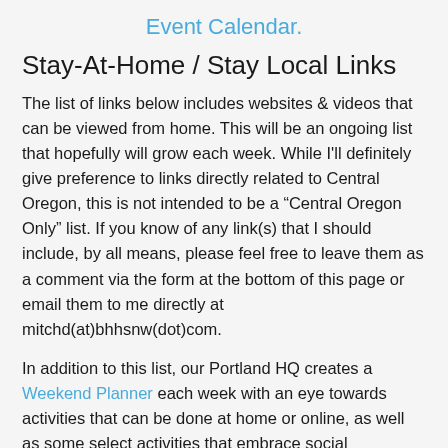Event Calendar.
Stay-At-Home / Stay Local Links
The list of links below includes websites & videos that can be viewed from home. This will be an ongoing list that hopefully will grow each week. While I'll definitely give preference to links directly related to Central Oregon, this is not intended to be a “Central Oregon Only” list. If you know of any link(s) that I should include, by all means, please feel free to leave them as a comment via the form at the bottom of this page or email them to me directly at mitchd(at)bhhsnw(dot)com.
In addition to this list, our Portland HQ creates a Weekend Planner each week with an eye towards activities that can be done at home or online, as well as some select activities that embrace social distancing.